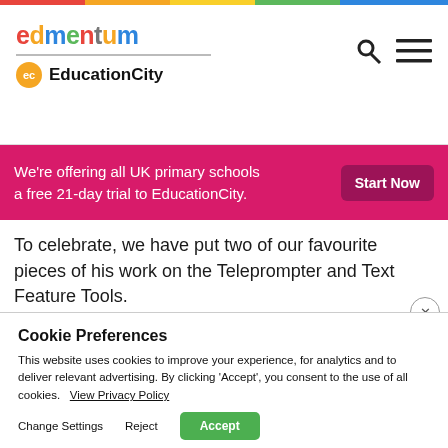edmentum / EducationCity
We're offering all UK primary schools a free 21-day trial to EducationCity.
To celebrate, we have put two of our favourite pieces of his work on the Teleprompter and Text Feature Tools.
Teleprompter Tool
Cookie Preferences
This website uses cookies to improve your experience, for analytics and to deliver relevant advertising. By clicking 'Accept', you consent to the use of all cookies.   View Privacy Policy